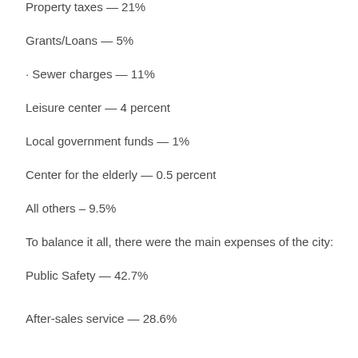Property taxes — 21%
Grants/Loans — 5%
· Sewer charges — 11%
Leisure center — 4 percent
Local government funds — 1%
Center for the elderly — 0.5 percent
All others – 9.5%
To balance it all, there were the main expenses of the city:
Public Safety — 42.7%
After-sales service — 28.6%